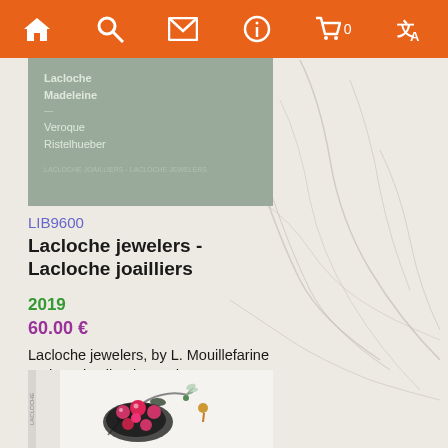Navigation bar with home, search, mail, info, cart (0), translate icons
[Figure (photo): Book cover in grey/green tones showing author names Lacloche Madeleine and Veroque Ristelhueber]
LIB9600
Lacloche jewelers - Lacloche joailliers
2019
60.00 €
Lacloche jewelers, by L. Mouillefarine and V. Ristelhueber, Ed. Norma, 9-½ inches x 12 inches ( 24 cm x 31 cm ), hardcover book with 320 full color pages - French/English edition
[Figure (photo): Book cover showing jeweled brooch with pink/red gemstones in floral arrangement with dragonfly motif on white background]